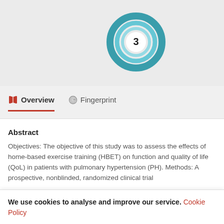[Figure (donut-chart): Donut/ring chart with teal/blue concentric ring style showing number 3 in center, representing citation or metric count of 3]
Overview
Fingerprint
Abstract
Objectives: The objective of this study was to assess the effects of home-based exercise training (HBET) on function and quality of life (QoL) in patients with pulmonary hypertension (PH). Methods: A prospective, nonblinded, randomized clinical trial
We use cookies to analyse and improve our service. Cookie Policy